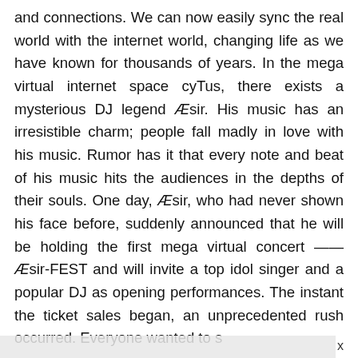and connections. We can now easily sync the real world with the internet world, changing life as we have known for thousands of years. In the mega virtual internet space cyTus, there exists a mysterious DJ legend Æsir. His music has an irresistible charm; people fall madly in love with his music. Rumor has it that every note and beat of his music hits the audiences in the depths of their souls. One day, Æsir, who had never shown his face before, suddenly announced that he will be holding the first mega virtual concert —— Æsir-FEST and will invite a top idol singer and a popular DJ as opening performances. The instant the ticket sales began, an unprecedented rush occurred. Everyone wanted to s